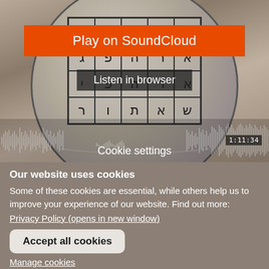[Figure (screenshot): SoundCloud player screenshot showing a clay disc/tablet with Hebrew letters in a grid, an orange 'Play on SoundCloud' button, a 'Listen in browser' button, an audio waveform with timestamp 1:11:34, and a 'Cookie settings' overlay label]
Cookie settings
Our website uses cookies
Some of these cookies are essential, while others help us to improve your experience of our website. Find out more:
Privacy Policy (opens in new window)
Accept all cookies
Manage cookies